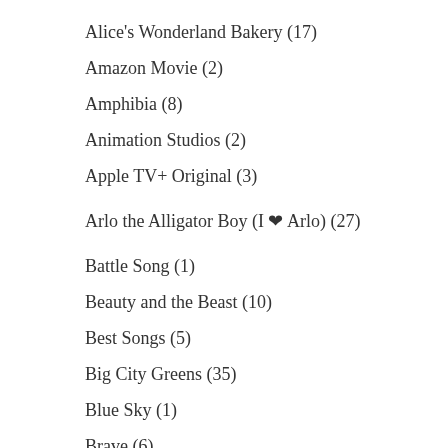Alice's Wonderland Bakery (17)
Amazon Movie (2)
Amphibia (8)
Animation Studios (2)
Apple TV+ Original (3)
Arlo the Alligator Boy (I ❤ Arlo) (27)
Battle Song (1)
Beauty and the Beast (10)
Best Songs (5)
Big City Greens (35)
Blue Sky (1)
Brave (6)
Broken Karaoke (1)
Cartoon Network (1)
Centaurworld (76)